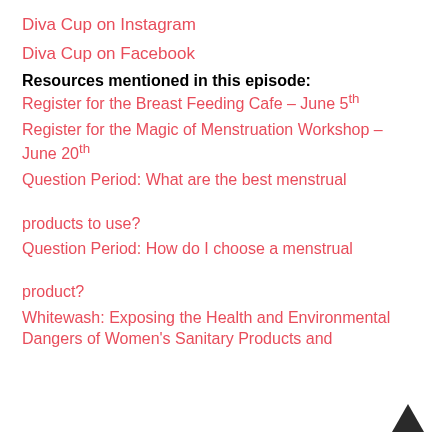Diva Cup on Instagram
Diva Cup on Facebook
Resources mentioned in this episode:
Register for the Breast Feeding Cafe – June 5th
Register for the Magic of Menstruation Workshop – June 20th
Question Period: What are the best menstrual products to use?
Question Period: How do I choose a menstrual product?
Whitewash: Exposing the Health and Environmental Dangers of Women's Sanitary Products and